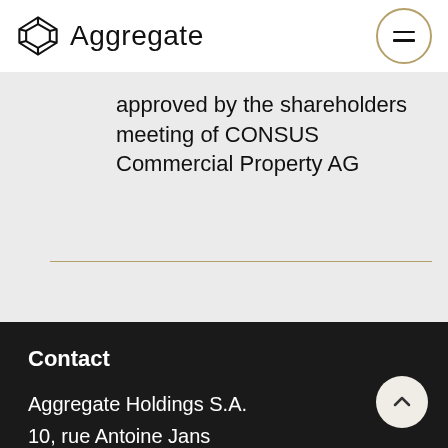Aggregate
approved by the shareholders meeting of CONSUS Commercial Property AG
Contact
Aggregate Holdings S.A.
10, rue Antoine Jans
L-1820 Luxembourg